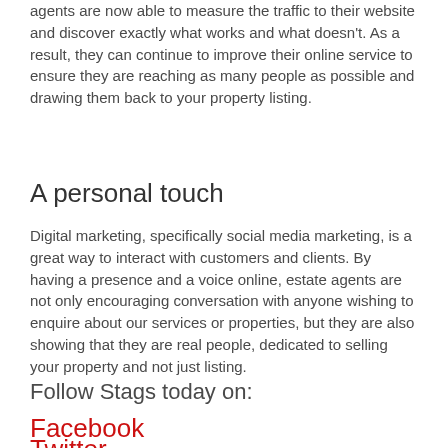agents are now able to measure the traffic to their website and discover exactly what works and what doesn't. As a result, they can continue to improve their online service to ensure they are reaching as many people as possible and drawing them back to your property listing.
A personal touch
Digital marketing, specifically social media marketing, is a great way to interact with customers and clients. By having a presence and a voice online, estate agents are not only encouraging conversation with anyone wishing to enquire about our services or properties, but they are also showing that they are real people, dedicated to selling your property and not just listing.
Follow Stags today on:
Facebook
Twitter
LinkedIn